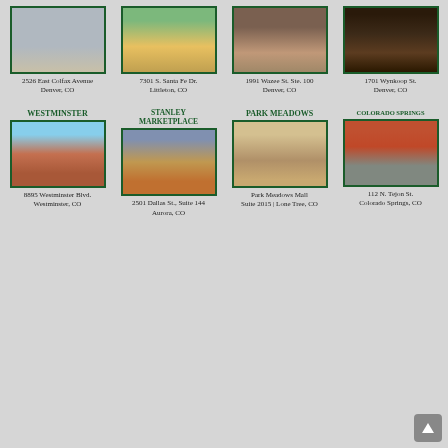[Figure (photo): Storefront photo, 2526 East Colfax Avenue]
2526 East Colfax Avenue
Denver, CO
[Figure (photo): Storefront photo, 7301 S. Santa Fe Dr.]
7301 S. Santa Fe Dr.
Littleton, CO
[Figure (photo): Storefront photo, 1991 Wazee St. Ste. 100]
1991 Wazee St. Ste. 100
Denver, CO
[Figure (photo): Storefront photo, 1701 Wynkoop St.]
1701 Wynkoop St.
Denver, CO
WESTMINSTER
[Figure (photo): Westminster store building exterior]
8895 Westminster Blvd.
Westminster, CO
STANLEY MARKETPLACE
[Figure (photo): Stanley Marketplace store interior]
2501 Dallas St., Suite 144
Aurora, CO
PARK MEADOWS
[Figure (photo): Park Meadows store interior]
Park Meadows Mall
Suite 2015 | Lone Tree, CO
COLORADO SPRINGS
[Figure (photo): Colorado Springs store exterior]
112 N. Tejon St.
Colorado Springs, CO